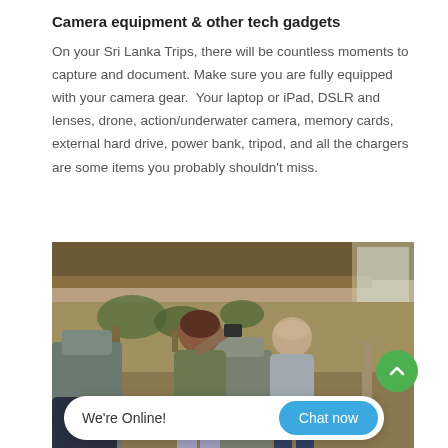Camera equipment & other tech gadgets
On your Sri Lanka Trips, there will be countless moments to capture and document. Make sure you are fully equipped with your camera gear.  Your laptop or iPad, DSLR and lenses, drone, action/underwater camera, memory cards, external hard drive, power bank, tripod, and all the chargers are some items you probably shouldn't miss.
[Figure (photo): Two tourists sitting inside an open safari jeep, one taking photos with a camera, scenic dry landscape visible outside, green chat widget overlay in bottom-right corner]